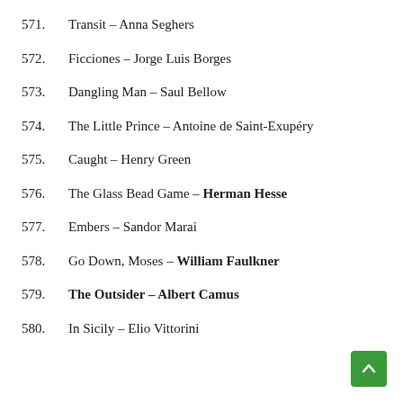571. Transit – Anna Seghers
572. Ficciones – Jorge Luis Borges
573. Dangling Man – Saul Bellow
574. The Little Prince – Antoine de Saint-Exupéry
575. Caught – Henry Green
576. The Glass Bead Game – Herman Hesse
577. Embers – Sandor Marai
578. Go Down, Moses – William Faulkner
579. The Outsider – Albert Camus
580. In Sicily – Elio Vittorini